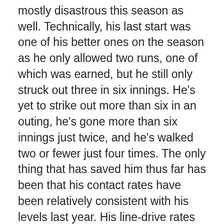mostly disastrous this season as well. Technically, his last start was one of his better ones on the season as he only allowed two runs, one of which was earned, but he still only struck out three in six innings. He's yet to strike out more than six in an outing, he's gone more than six innings just twice, and he's walked two or fewer just four times. The only thing that has saved him thus far has been that his contact rates have been relatively consistent with his levels last year. His line-drive rates have stayed low, and he is inducing more infield fly balls (15.2 IFFB%) than he ever has before, already surpassing last year's total of 10 (he's got 12) and just two shy of his previous best of 14. As IFFBs are virtually the same for a pitcher as a strikeout (a guaranteed out), it makes his paltry 41:35 K:BB look slightly less terrible.